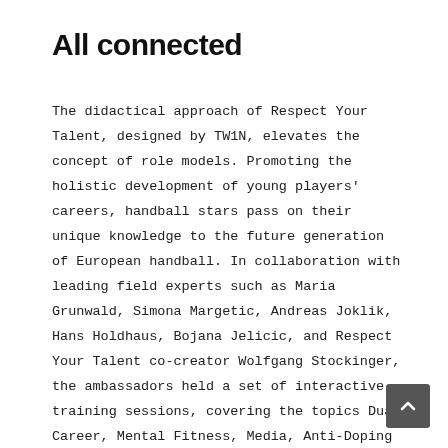All connected
The didactical approach of Respect Your Talent, designed by TW1N, elevates the concept of role models. Promoting the holistic development of young players' careers, handball stars pass on their unique knowledge to the future generation of European handball. In collaboration with leading field experts such as Maria Grunwald, Simona Margetic, Andreas Joklik, Hans Holdhaus, Bojana Jelicic, and Respect Your Talent co-creator Wolfgang Stockinger, the ambassadors held a set of interactive training sessions, covering the topics Dual Career, Mental Fitness, Media, Anti-Doping and Sports Law.